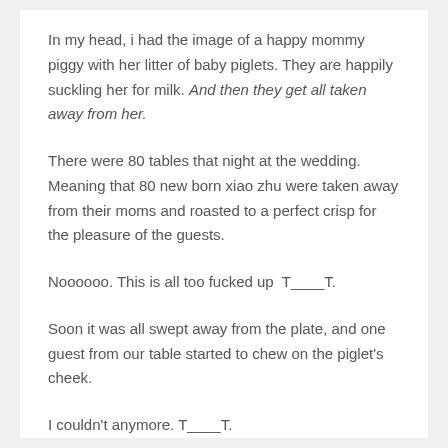In my head, i had the image of a happy mommy piggy with her litter of baby piglets. They are happily suckling her for milk. And then they get all taken away from her.
There were 80 tables that night at the wedding. Meaning that 80 new born xiao zhu were taken away from their moms and roasted to a perfect crisp for the pleasure of the guests.
Noooooo. This is all too fucked up  T____T.
Soon it was all swept away from the plate, and one guest from our table started to chew on the piglet's cheek.
I couldn't anymore. T____T.